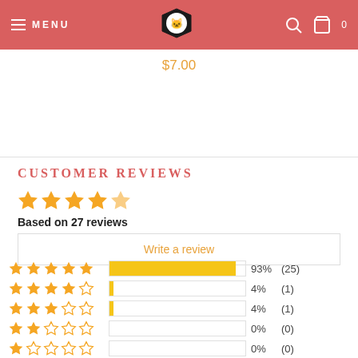Menu | [Logo] | Search | Cart 0
$7.00
CUSTOMER REVIEWS
Based on 27 reviews
Write a review
[Figure (bar-chart): Rating distribution]